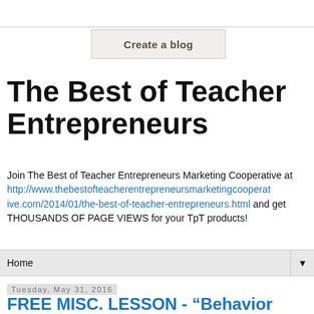[Figure (screenshot): Create a blog button in a light beige box with border]
The Best of Teacher Entrepreneurs
Join The Best of Teacher Entrepreneurs Marketing Cooperative at http://www.thebestofteacherentrepreneursmarketingcooperative.com/2014/01/the-best-of-teacher-entrepreneurs.html and get THOUSANDS OF PAGE VIEWS for your TpT products!
Home
Tuesday, May 31, 2016
FREE MISC. LESSON - “Behavior Reports in English and Spanish”